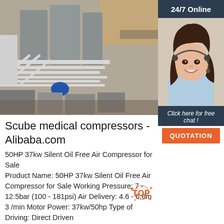[Figure (photo): Aerial/overhead view of industrial compressor facility with large grey tanks, white pipework, and blue machinery on an outdoor site.]
[Figure (photo): 24/7 Online customer service representative - woman wearing headset and smiling, with dark hair.]
Scube medical compressors - Alibaba.com
50HP 37kw Silent Oil Free Air Compressor for Sale Product Name: 50HP 37kw Silent Oil Free Air Compressor for Sale Working Pressure: 7 - 12.5bar (100 - 181psi) Air Delivery: 4.6 - 6.6m 3 /min Motor Power: 37kw/50hp Type of Driving: Direct Driven Type of Cooling: Air Cooling/Water Cooling
Click here for free chat !
QUOTATION